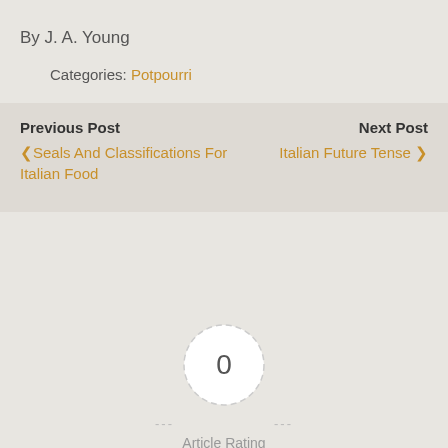By J. A. Young
Categories: Potpourri
Previous Post
‹ Seals And Classifications For Italian Food
Next Post
Italian Future Tense ›
0
Article Rating